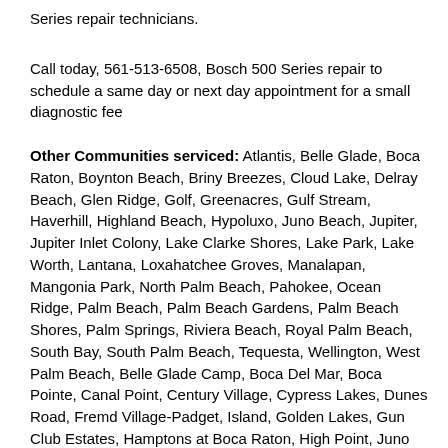Series repair technicians.
Call today, 561-513-6508, Bosch 500 Series repair to schedule a same day or next day appointment for a small diagnostic fee
Other Communities serviced: Atlantis, Belle Glade, Boca Raton, Boynton Beach, Briny Breezes, Cloud Lake, Delray Beach, Glen Ridge, Golf, Greenacres, Gulf Stream, Haverhill, Highland Beach, Hypoluxo, Juno Beach, Jupiter, Jupiter Inlet Colony, Lake Clarke Shores, Lake Park, Lake Worth, Lantana, Loxahatchee Groves, Manalapan, Mangonia Park, North Palm Beach, Pahokee, Ocean Ridge, Palm Beach, Palm Beach Gardens, Palm Beach Shores, Palm Springs, Riviera Beach, Royal Palm Beach, South Bay, South Palm Beach, Tequesta, Wellington, West Palm Beach, Belle Glade Camp, Boca Del Mar, Boca Pointe, Canal Point, Century Village, Cypress Lakes, Dunes Road, Fremd Village-Padget, Island, Golden Lakes, Gun Club Estates, Hamptons at Boca Raton, High Point, Juno Ridge, Kings Point, Lake Belvedere Estates, Lake Harbor, Lake Worth Corridor, Likeside Green, Limestone Creek, Mission Bay, Plantation Mobile Home Park, Royal Palm estates, Sandalfoot Cove, Schall Circle, Seminole Manor, Stacy Street, Villages of Golf, Westgate, Brambleton Homes, Whiting, Wellington...